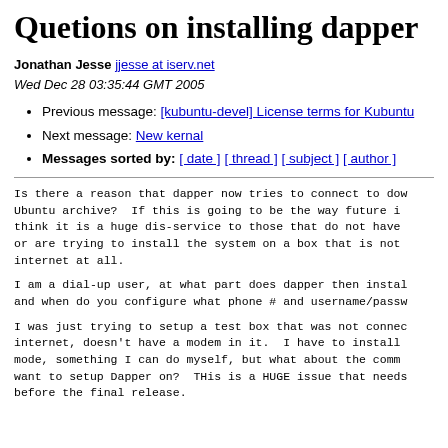Quetions on installing dapper
Jonathan Jesse jjesse at iserv.net
Wed Dec 28 03:35:44 GMT 2005
Previous message: [kubuntu-devel] License terms for Kubuntu
Next message: New kernal
Messages sorted by: [ date ] [ thread ] [ subject ] [ author ]
Is there a reason that dapper now tries to connect to dow Ubuntu archive?  If this is going to be the way future i think it is a huge dis-service to those that do not have or are trying to install the system on a box that is not internet at all.
I am a dial-up user, at what part does dapper then instal and when do you configure what phone # and username/passw
I was just trying to setup a test box that was not connec internet, doesn't have a modem in it.  I have to install mode, something I can do myself, but what about the comm want to setup Dapper on?  THis is a HUGE issue that needs before the final release.